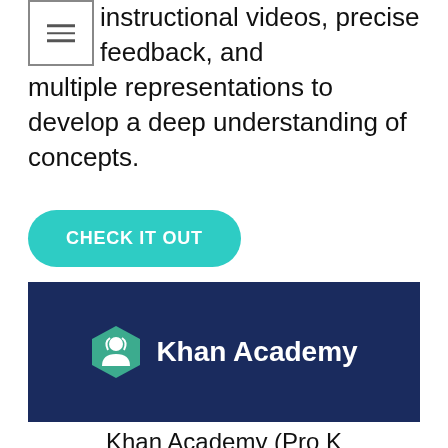instructional videos, precise feedback, and multiple representations to develop a deep understanding of concepts.
CHECK IT OUT
[Figure (logo): Khan Academy logo on dark blue background — green hexagonal shield icon with a person figure, beside white text reading 'Khan Academy']
Khan Academy (Pro K